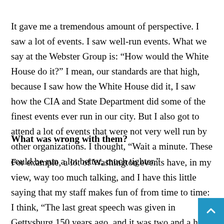It gave me a tremendous amount of perspective. I saw a lot of events. I saw well-run events. What we say at the Webster Group is: “How would the White House do it?” I mean, our standards are that high, because I saw how the White House did it, I saw how the CIA and State Department did some of the finest events ever run in our city. But I also got to attend a lot of events that were not very well run by other organizations. I thought, “Wait a minute. These could be run a lot better, much tighter.”
What was wrong with them?
For example, a lot of Washington events have, in my view, way too much talking, and I have this little saying that my staff makes fun of from time to time: I think, “The last great speech was given in Gettysburg 150 years ago, and it was two and a half minutes long… try to get our clients to think about how to get their message acro…